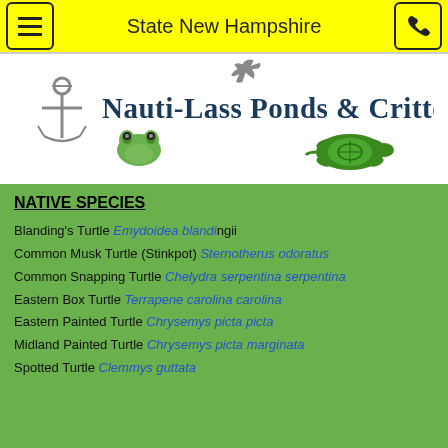State New Hampshire
[Figure (logo): Nauti-Lass Ponds & Critters, Inc. logo with anchor, frog, gecko, and turtle illustrations]
NATIVE SPECIES
Blanding's Turtle Emydoidea blandingii
Common Musk Turtle (Stinkpot) Sternotherus odoratus
Common Snapping Turtle Chelydra serpentina serpentina
Eastern Box Turtle Terrapene carolina carolina
Eastern Painted Turtle Chrysemys picta picta
Midland Painted Turtle Chrysemys picta marginata
Spotted Turtle Clemmys guttata